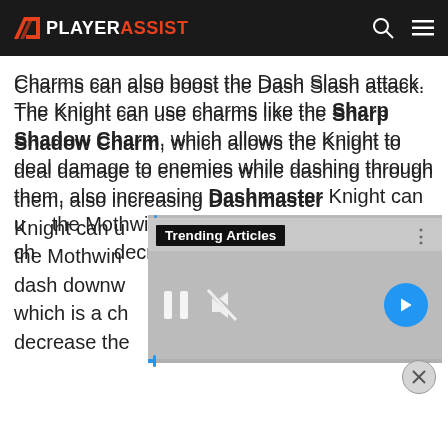PLAYERASSIST
Charms can also boost the Dash Slash attack. The Knight can use charms like the Sharp Shadow Charm, which allows the Knight to deal damage to enemies while dashing through them, also increasing Dashmaster Knight can use the Mothwing to dash downwards, which is a charm that can decrease the
[Figure (screenshot): Trending Articles media player overlay with pause, mute, and arrow buttons on a grey background with a progress bar]